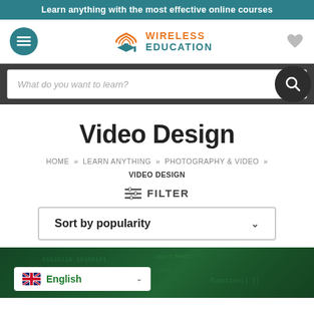Learn anything with the most effective online courses
[Figure (logo): Wireless Education logo with WiFi and graduation cap icon, orange and teal text]
What do you want to learn?
Video Design
HOME » LEARN ANYTHING » PHOTOGRAPHY & VIDEO » VIDEO DESIGN
≡ FILTER
Sort by popularity
[Figure (screenshot): Bottom green blurred background with English language selector showing UK flag]